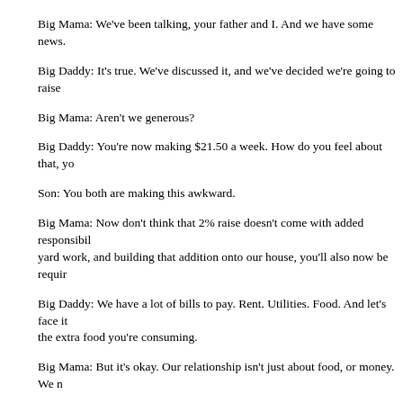Big Mama: We've been talking, your father and I. And we have some news.
Big Daddy: It's true. We've discussed it, and we've decided we're going to raise
Big Mama: Aren't we generous?
Big Daddy: You're now making $21.50 a week. How do you feel about that, yo
Son: You both are making this awkward.
Big Mama: Now don't think that 2% raise doesn't come with added responsibil yard work, and building that addition onto our house, you'll also now be requir
Big Daddy: We have a lot of bills to pay. Rent. Utilities. Food. And let's face it the extra food you're consuming.
Big Mama: But it's okay. Our relationship isn't just about food, or money. We n
Big Daddy: When you painted that beautiful watercolor, who sold it for you an
Big Mama: That's what we do. Because we're a team.